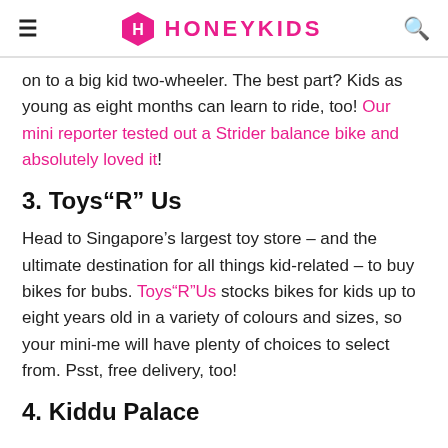HONEYKIDS
on to a big kid two-wheeler. The best part? Kids as young as eight months can learn to ride, too! Our mini reporter tested out a Strider balance bike and absolutely loved it!
3. Toys“R” Us
Head to Singapore’s largest toy store – and the ultimate destination for all things kid-related – to buy bikes for bubs. Toys“R”Us stocks bikes for kids up to eight years old in a variety of colours and sizes, so your mini-me will have plenty of choices to select from. Psst, free delivery, too!
4. Kiddu Palace